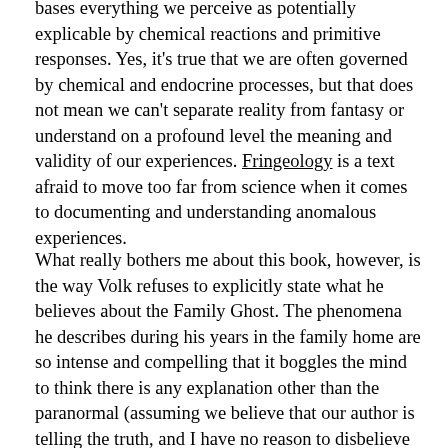bases everything we perceive as potentially explicable by chemical reactions and primitive responses. Yes, it's true that we are often governed by chemical and endocrine processes, but that does not mean we can't separate reality from fantasy or understand on a profound level the meaning and validity of our experiences. Fringeology is a text afraid to move too far from science when it comes to documenting and understanding anomalous experiences.
What really bothers me about this book, however, is the way Volk refuses to explicitly state what he believes about the Family Ghost. The phenomena he describes during his years in the family home are so intense and compelling that it boggles the mind to think there is any explanation other than the paranormal (assuming we believe that our author is telling the truth, and I have no reason to disbelieve him). When he discovers the answer to what he